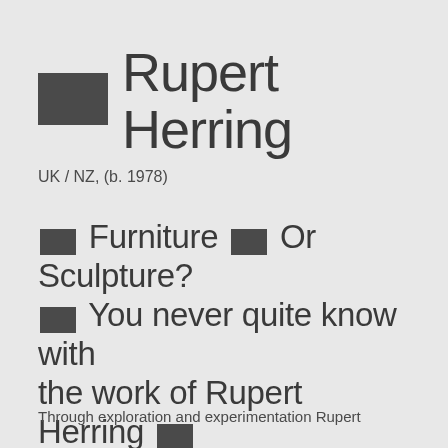■ Rupert Herring
UK / NZ, (b. 1978)
■ Furniture ■ Or Sculpture? ■ You never quite know with the work of Rupert Herring ■ An extraordinary original maker and craftsman who confounds expectations ■ his work never fails to delight.
Through exploration and experimentation Rupert